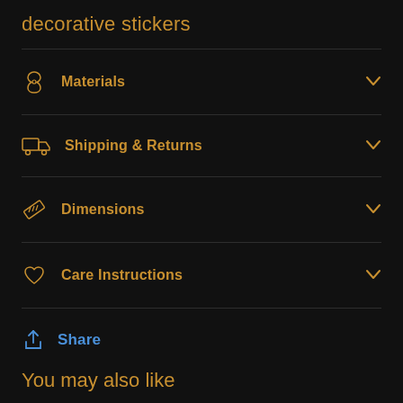decorative stickers
Materials
Shipping & Returns
Dimensions
Care Instructions
Share
You may also like